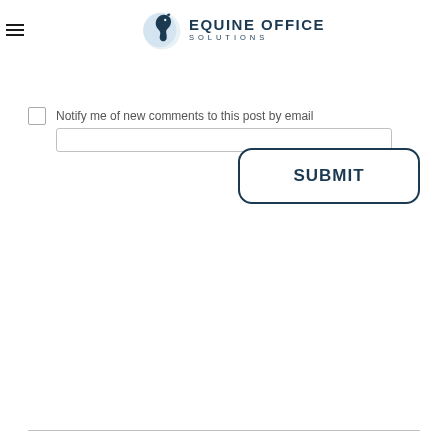[Figure (logo): Equine Office Solutions logo with horse head icon and text]
Notify me of new comments to this post by email
SUBMIT